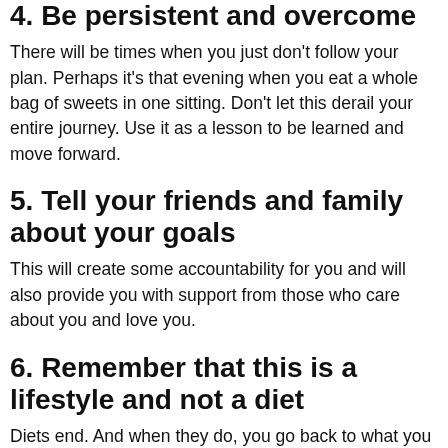4. Be persistent and overcome
There will be times when you just don't follow your plan. Perhaps it's that evening when you eat a whole bag of sweets in one sitting. Don't let this derail your entire journey. Use it as a lesson to be learned and move forward.
5. Tell your friends and family about your goals
This will create some accountability for you and will also provide you with support from those who care about you and love you.
6. Remember that this is a lifestyle and not a diet
Diets end. And when they do, you go back to what you